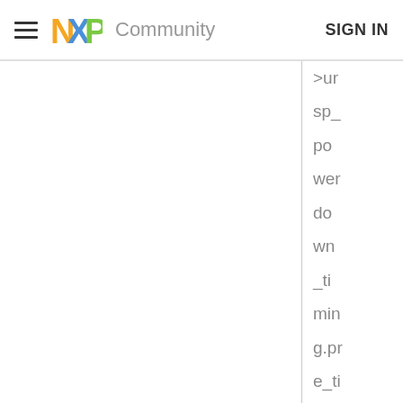NXP Community  SIGN IN
>ur sp_ po wer do wn _ti min g.pr e_ti min g.d ela y_ti mo